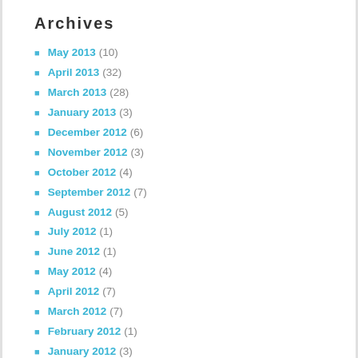Archives
May 2013 (10)
April 2013 (32)
March 2013 (28)
January 2013 (3)
December 2012 (6)
November 2012 (3)
October 2012 (4)
September 2012 (7)
August 2012 (5)
July 2012 (1)
June 2012 (1)
May 2012 (4)
April 2012 (7)
March 2012 (7)
February 2012 (1)
January 2012 (3)
November 2011 (5)
October 2011 (1)
September 2011 (3)